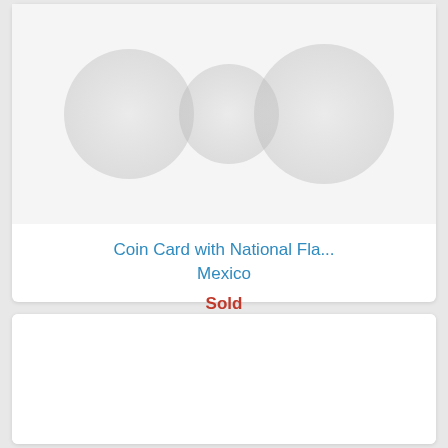[Figure (photo): Faint coin card product image showing coins against white background]
Coin Card with National Fla...
Mexico
Sold
[Figure (photo): Second product card image area, blank/white]